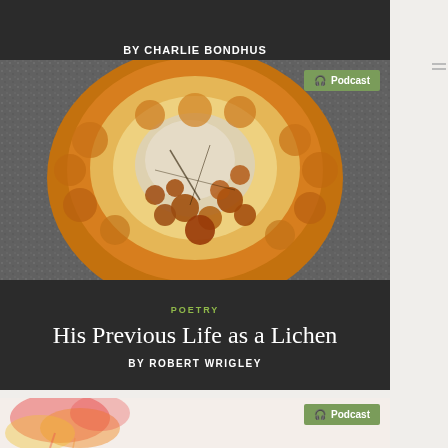BY CHARLIE BONDHUS
[Figure (photo): Close-up photograph of an orange and yellow lichen growing on a grey speckled rock surface. The lichen is circular with a cracked, textured appearance, orange lobules around the fringe, and scattered dark orange apothecia (fruiting bodies). A green 'Podcast' badge with headphone icon appears in the top-right corner.]
POETRY
His Previous Life as a Lichen
BY ROBERT WRIGLEY
[Figure (photo): Partially visible photograph at the bottom of the page showing abstract watercolor-style paint splashes in red, orange, and yellow on a light background. A green 'Podcast' badge with headphone icon appears in the top-right corner.]